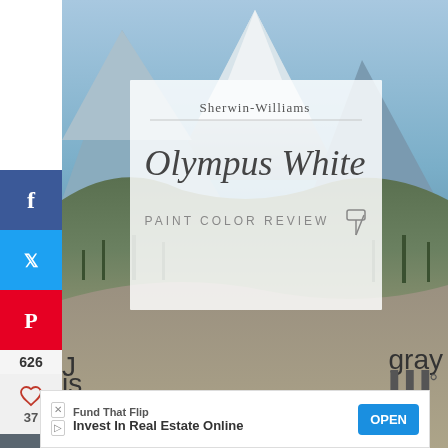[Figure (screenshot): Screenshot of a blog page reviewing Sherwin-Williams Olympus White paint color. Shows a hero image with a mountain landscape background, a semi-transparent label box with 'Sherwin-Williams', 'Olympus White', and 'PAINT COLOR REVIEW' text. Left side has a social sharing sidebar with Facebook, Twitter, Pinterest (626), heart (37), and email buttons. Right side has floating heart (663) and share icons. Below the hero image is large body text reading 'Sherwin Williams Olympus White is a sophisticated and timeless neutral paint color.' A 'WHAT'S NEXT' panel shows 'Sherwin Williams Nor...' At the bottom is an advertisement for 'Fund That Flip - Invest In Real Estate Online' with an OPEN button.]